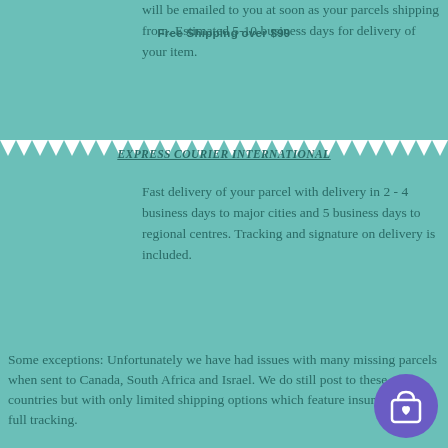will be emailed to you as soon as your parcels shipping from. Estimated 5-10 business days for delivery of your item.
Free Shipping over $99
EXPRESS COURIER INTERNATIONAL
Fast delivery of your parcel with delivery in 2 - 4 business days to major cities and 5 business days to regional centres. Tracking and signature on delivery is included.
Some exceptions: Unfortunately we have had issues with many missing parcels when sent to Canada, South Africa and Israel. We do still post to these countries but with only limited shipping options which feature insurance and full tracking.
If your country isn't showing in the postage calculator please email us your order to info@cookiecuttershop.com.au and we will send you a postage quote.